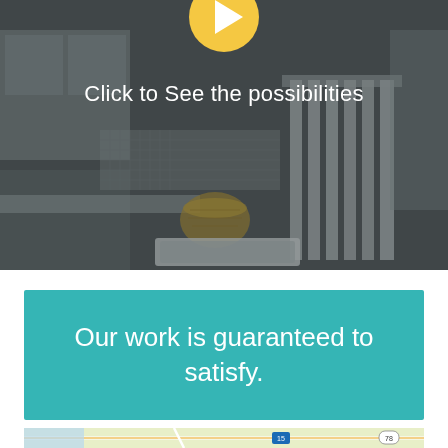[Figure (photo): Darkened photo of a kitchen with white cabinets, tile backsplash, wicker basket, and water filtration equipment with tubes, overlaid with a yellow play button icon at the top center]
Click to See the possibilities
Our work is guaranteed to satisfy.
[Figure (map): Street map snippet showing roads, route 15 and route 78 markers]